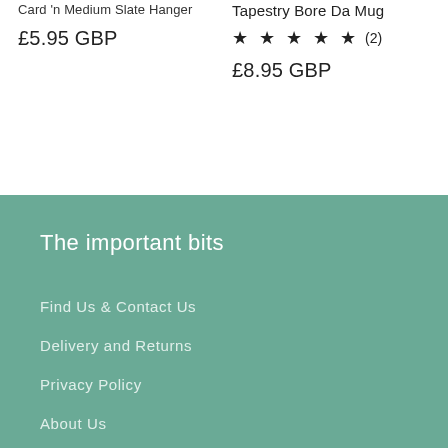Card 'n Medium Slate Hanger
£5.95 GBP
Tapestry Bore Da Mug
★ ★ ★ ★ ★ (2)
£8.95 GBP
The important bits
Find Us & Contact Us
Delivery and Returns
Privacy Policy
About Us